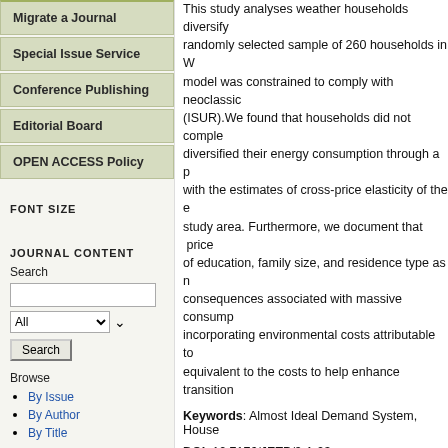Migrate a Journal
Special Issue Service
Conference Publishing
Editorial Board
OPEN ACCESS Policy
FONT SIZE
JOURNAL CONTENT
Search
Browse
By Issue
By Author
By Title
This study analyses weather households diversify... randomly selected sample of 260 households in W... model was constrained to comply with neoclassic... (ISUR).We found that households did not comple... diversified their energy consumption through a p... with the estimates of cross-price elasticity of the e... study area. Furthermore, we document that price... of education, family size, and residence type as n... consequences associated with massive consump... incorporating environmental costs attributable to... equivalent to the costs to help enhance transition...
Keywords: Almost Ideal Demand System, House...
DOI: 10.7176/JETP/9-1-03
Full Text: PDF
Download journal a...